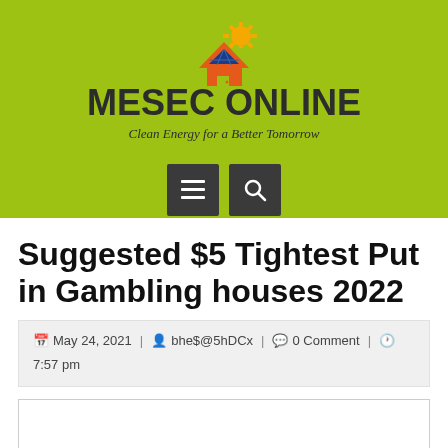[Figure (logo): MESEC ONLINE logo with solar panel house icon, gear/sun shape, tagline 'Clean Energy for a Better Tomorrow']
[Figure (infographic): Two dark gray navigation buttons: hamburger menu icon and search/magnifying glass icon]
Suggested $5 Tightest Put in Gambling houses 2022
May 24, 2021 | bhe$@5hDCx | 0 Comment | 7:57 pm
[Figure (other): Empty white content box with border]